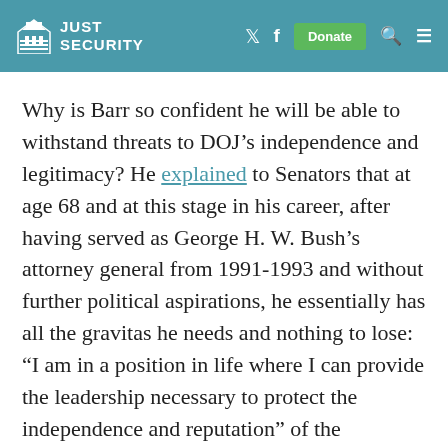JUST SECURITY
Why is Barr so confident he will be able to withstand threats to DOJ’s independence and legitimacy? He explained to Senators that at age 68 and at this stage in his career, after having served as George H. W. Bush’s attorney general from 1991-1993 and without further political aspirations, he essentially has all the gravitas he needs and nothing to lose: “I am in a position in life where I can provide the leadership necessary to protect the independence and reputation” of the Department.